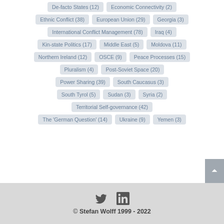De-facto States (12)
Economic Connectivity (2)
Ethnic Conflict (38)
European Union (29)
Georgia (3)
International Conflict Management (78)
Iraq (4)
Kin-state Politics (17)
Middle East (5)
Moldova (11)
Northern Ireland (12)
OSCE (9)
Peace Processes (15)
Pluralism (4)
Post-Soviet Space (20)
Power Sharing (39)
South Caucasus (3)
South Tyrol (5)
Sudan (3)
Syria (2)
Territorial Self-governance (42)
The 'German Question' (14)
Ukraine (9)
Yemen (3)
© Stefan Wolff 1999 - 2022